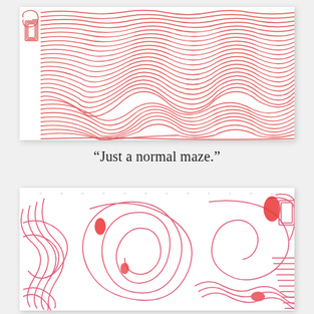[Figure (illustration): A complex hand-drawn red maze with tightly packed concentric wavy lines forming an abstract pattern, with some letter-like shapes on the left side, on a white background.]
“Just a normal maze.”
[Figure (illustration): A complex hand-drawn pink/red maze with large sweeping curves and organic shapes forming an intricate abstract pattern, on a white background with faint grid marks visible.]